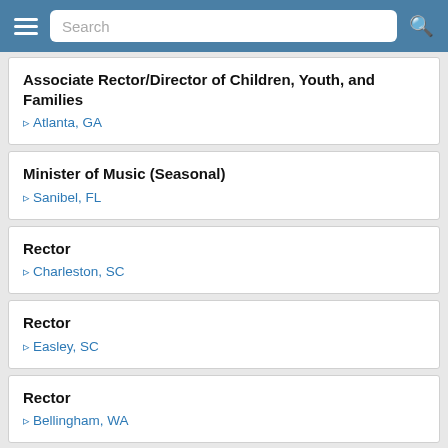Search
Associate Rector/Director of Children, Youth, and Families — Atlanta, GA
Minister of Music (Seasonal) — Sanibel, FL
Rector — Charleston, SC
Rector — Easley, SC
Rector — Bellingham, WA
Manager for Racial Justice and Reconciliation, The Episcopal Church — TBD / New York, NY